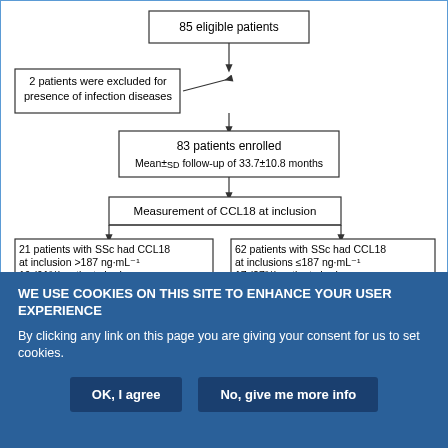[Figure (flowchart): Patient enrollment flowchart: 85 eligible patients → 2 excluded for infection diseases → 83 enrolled (Mean±SD follow-up 33.7±10.8 months) → Measurement of CCL18 at inclusion → split into 21 patients with SSc had CCL18 at inclusion >187 ng·mL-1 (19 (91%) had subsequent combined events during follow-up) and 62 patients with SSc had CCL18 at inclusions ≤187 ng·mL-1 (17 (27%) had subsequent combined events during follow-up)]
WE USE COOKIES ON THIS SITE TO ENHANCE YOUR USER EXPERIENCE
By clicking any link on this page you are giving your consent for us to set cookies.